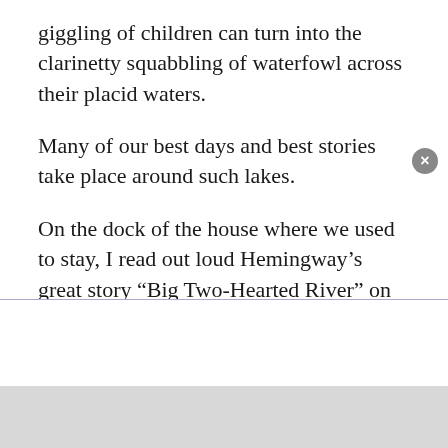giggling of children can turn into the clarinetty squabbling of waterfowl across their placid waters.
Many of our best days and best stories take place around such lakes.
On the dock of the house where we used to stay, I read out loud Hemingway’s great story “Big Two-Hearted River” on that writer’s birthday centennial in 1999. I remember our daughter Megan as she grew from a limber, laughing child into an always-reading